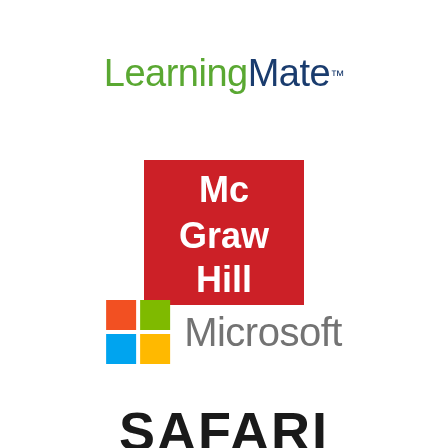[Figure (logo): LearningMate logo with 'Learning' in green and 'Mate' in dark blue, with TM superscript]
[Figure (logo): McGraw Hill logo: white text 'Mc Graw Hill' on red square background]
[Figure (logo): Microsoft logo with four-color window grid (red, green, blue, yellow) and 'Microsoft' in gray text]
[Figure (logo): Safari logo text partially visible at bottom of page, bold black letters]